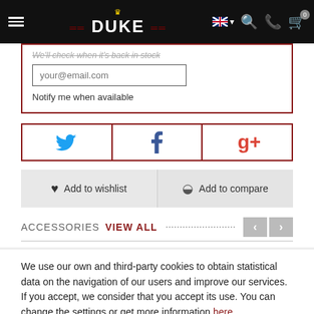DUKE (navigation header with menu, logo, language selector, search, phone, cart)
your@email.com
Notify me when available
[Figure (other): Social share buttons: Twitter (bird icon), Facebook (f icon), Google+ (g+ icon), each in a box with dark red border]
Add to wishlist
Add to compare
ACCESSORIES  VIEW ALL
We use our own and third-party cookies to obtain statistical data on the navigation of our users and improve our services. If you accept, we consider that you accept its use. You can change the settings or get more information here.
Configure
Accept all